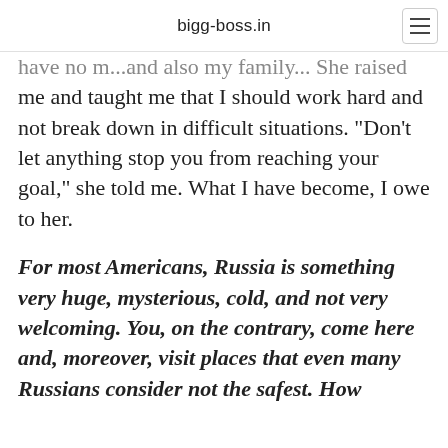bigg-boss.in
have no mind also my family... She raised me and taught me that I should work hard and not break down in difficult situations. "Don't let anything stop you from reaching your goal," she told me. What I have become, I owe to her.
For most Americans, Russia is something very huge, mysterious, cold, and not very welcoming. You, on the contrary, come here and, moreover, visit places that even many Russians consider not the safest. How comfortable do you feel in Russia?